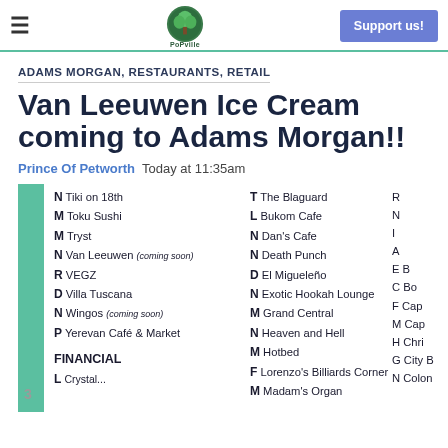PoPville — Prince of Petworth | Support us!
ADAMS MORGAN, RESTAURANTS, RETAIL
Van Leeuwen Ice Cream coming to Adams Morgan!!
Prince Of Petworth  Today at 11:35am
[Figure (photo): A directory sign listing Adams Morgan businesses including Van Leeuwen (coming soon), Tiki on 18th, Toku Sushi, Tryst, VEGZ, Villa Tuscana, Wingos (coming soon), Yerevan Café & Market, The Blaguard, Bukom Cafe, Dan's Cafe, Death Punch, El Migueleño, Exotic Hookah Lounge, Grand Central, Heaven and Hell, Hotbed, Lorenzo's Billiards Corner, Madam's Organ, and a FINANCIAL section.]